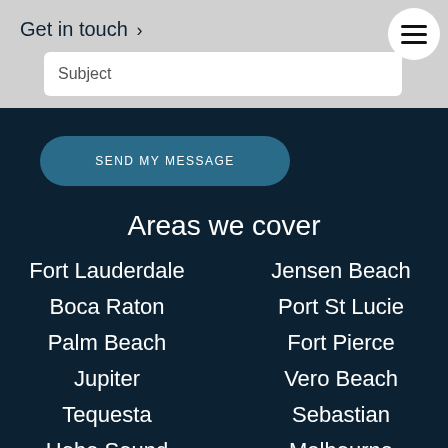Get in touch >
Subject
SEND MY MESSAGE
Areas we cover
Fort Lauderdale
Jensen Beach
Boca Raton
Port St Lucie
Palm Beach
Fort Pierce
Jupiter
Vero Beach
Tequesta
Sebastian
Hobe Sound
Melbourne